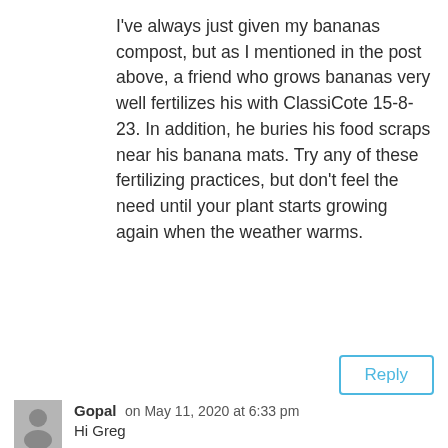I've always just given my bananas compost, but as I mentioned in the post above, a friend who grows bananas very well fertilizes his with ClassiCote 15-8-23. In addition, he buries his food scraps near his banana mats. Try any of these fertilizing practices, but don't feel the need until your plant starts growing again when the weather warms.
Reply
Gopal on May 11, 2020 at 6:33 pm
Hi Greg